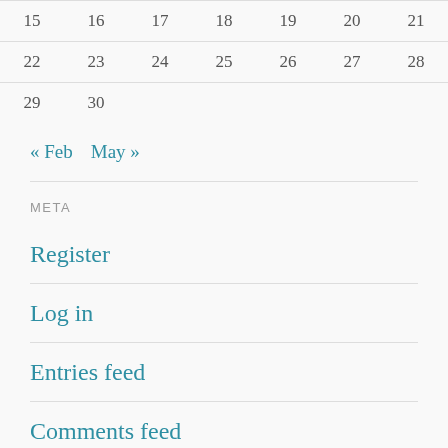| 15 | 16 | 17 | 18 | 19 | 20 | 21 |
| 22 | 23 | 24 | 25 | 26 | 27 | 28 |
| 29 | 30 |  |  |  |  |  |
« Feb   May »
META
Register
Log in
Entries feed
Comments feed